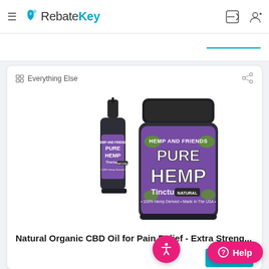≡ RebateKey
Everything Else
[Figure (photo): Product photo: Hemp And Friends Pure Hemp Tincture CBD oil bottle and jar with purple label, Natural flavor, 100% Hemp Derived, Made in the USA]
Natural Organic CBD Oil for Pain Relief - Extra Streng...